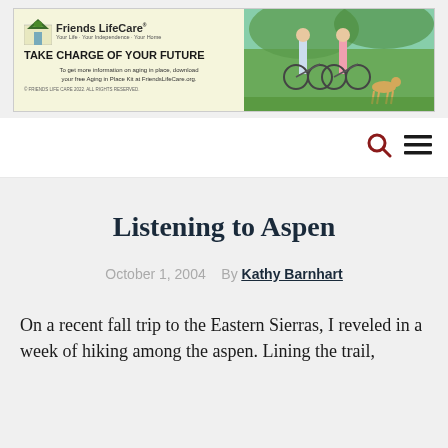[Figure (advertisement): Friends LifeCare advertisement banner with logo, headline 'TAKE CHARGE OF YOUR FUTURE', body text about aging in place kit, and photo of couple with bicycles and a dog.]
Listening to Aspen
October 1, 2004   By Kathy Barnhart
On a recent fall trip to the Eastern Sierras, I reveled in a week of hiking among the aspen. Lining the trail,